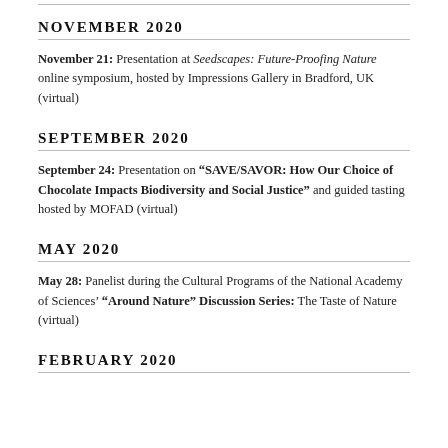NOVEMBER 2020
November 21: Presentation at Seedscapes: Future-Proofing Nature online symposium, hosted by Impressions Gallery in Bradford, UK (virtual)
SEPTEMBER 2020
September 24: Presentation on “SAVE/SAVOR: How Our Choice of Chocolate Impacts Biodiversity and Social Justice” and guided tasting hosted by MOFAD (virtual)
MAY 2020
May 28: Panelist during the Cultural Programs of the National Academy of Sciences’ “Around Nature” Discussion Series: The Taste of Nature (virtual)
FEBRUARY 2020